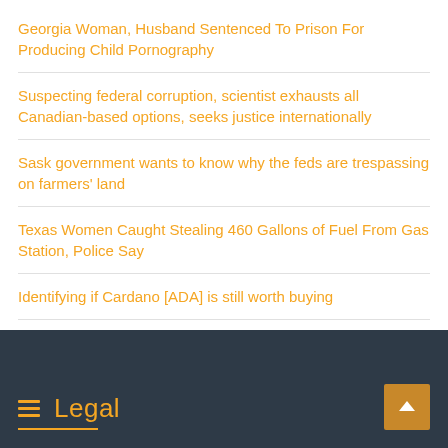Georgia Woman, Husband Sentenced To Prison For Producing Child Pornography
Suspecting federal corruption, scientist exhausts all Canadian-based options, seeks justice internationally
Sask government wants to know why the feds are trespassing on farmers' land
Texas Women Caught Stealing 460 Gallons of Fuel From Gas Station, Police Say
Identifying if Cardano [ADA] is still worth buying
Exclusive: Texas Border Sector Suspends Routine Patrols to Address Facility Overcrowding
Legal